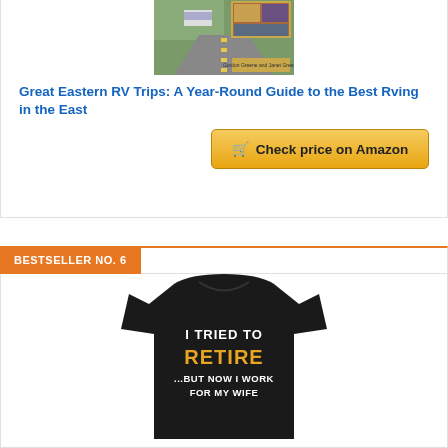[Figure (photo): Book cover for 'Great Eastern RV Trips: A Year-Round Guide to the Best Rving in the East' showing an RV on a road and scenic collage]
Great Eastern RV Trips: A Year-Round Guide to the Best Rving in the East
Check price on Amazon
BESTSELLER NO. 6
[Figure (photo): Black t-shirt with text 'I TRIED TO RETIRE ...BUT NOW I WORK FOR MY WIFE']